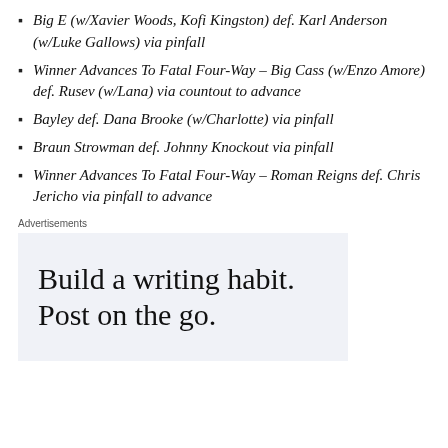Big E (w/Xavier Woods, Kofi Kingston) def. Karl Anderson (w/Luke Gallows) via pinfall
Winner Advances To Fatal Four-Way – Big Cass (w/Enzo Amore) def. Rusev (w/Lana) via countout to advance
Bayley def. Dana Brooke (w/Charlotte) via pinfall
Braun Strowman def. Johnny Knockout via pinfall
Winner Advances To Fatal Four-Way – Roman Reigns def. Chris Jericho via pinfall to advance
Advertisements
[Figure (other): Advertisement box with text 'Build a writing habit. Post on the go.']